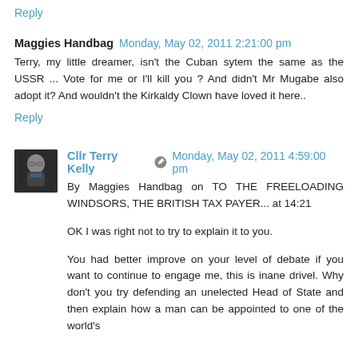Reply
Maggies Handbag  Monday, May 02, 2011 2:21:00 pm
Terry, my little dreamer, isn't the Cuban sytem the same as the USSR ... Vote for me or I'll kill you ? And didn't Mr Mugabe also adopt it? And wouldn't the Kirkaldy Clown have loved it here..
Reply
Cllr Terry Kelly  Monday, May 02, 2011 4:59:00 pm
By Maggies Handbag on TO THE FREELOADING WINDSORS, THE BRITISH TAX PAYER... at 14:21
OK I was right not to try to explain it to you.
You had better improve on your level of debate if you want to continue to engage me, this is inane drivel. Why don't you try defending an unelected Head of State and then explain how a man can be appointed to one of the world's